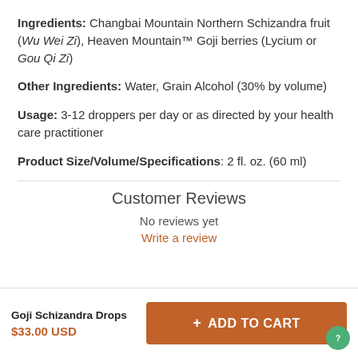Ingredients: Changbai Mountain Northern Schizandra fruit (Wu Wei Zi), Heaven Mountain™ Goji berries (Lycium or Gou Qi Zi)
Other Ingredients: Water, Grain Alcohol (30% by volume)
Usage: 3-12 droppers per day or as directed by your health care practitioner
Product Size/Volume/Specifications: 2 fl. oz. (60 ml)
Customer Reviews
No reviews yet
Write a review
Goji Schizandra Drops
$33.00 USD
+ ADD TO CART